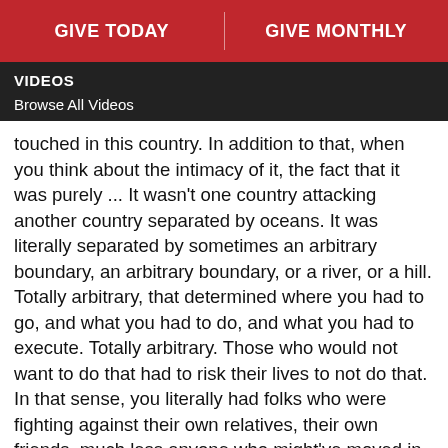GIVE TODAY | GIVE MONTHLY
VIDEOS
Browse All Videos
touched in this country. In addition to that, when you think about the intimacy of it, the fact that it was purely ... It wasn't one country attacking another country separated by oceans. It was literally separated by sometimes an arbitrary boundary, an arbitrary boundary, or a river, or a hill. Totally arbitrary, that determined where you had to go, and what you had to do, and what you had to execute. Totally arbitrary. Those who would not want to do that had to risk their lives to not do that. In that sense, you literally had folks who were fighting against their own relatives, their own friends, much less anyone who might've moved in the last five years before